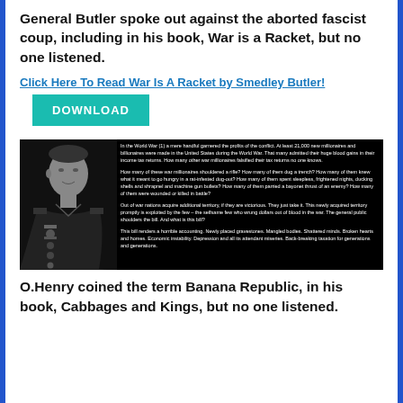General Butler spoke out against the aborted fascist coup, including in his book, War is a Racket, but no one listened.
Click Here To Read War Is A Racket by Smedley Butler!
DOWNLOAD
[Figure (photo): Black and white photograph of General Smedley Butler in military uniform with medals, alongside excerpted text from War is a Racket describing war profiteering and its costs.]
O.Henry coined the term Banana Republic, in his book, Cabbages and Kings, but no one listened.